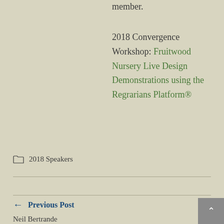member.
2018 Convergence Workshop: Fruitwood Nursery Live Design Demonstrations using the Regrarians Platform®
2018 Speakers
← Previous Post
Neil Bertrande